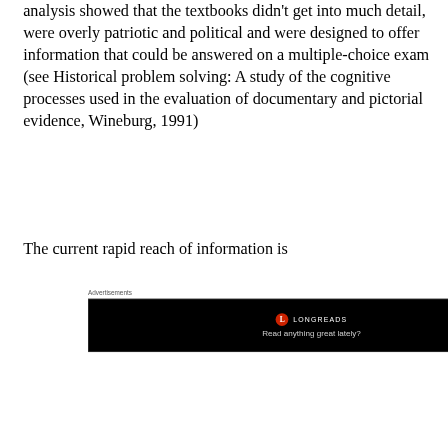analysis showed that the textbooks didn't get into much detail, were overly patriotic and political and were designed to offer information that could be answered on a multiple-choice exam (see Historical problem solving: A study of the cognitive processes used in the evaluation of documentary and pictorial evidence, Wineburg, 1991)
[Figure (screenshot): Advertisement banner with black background showing Longreads logo and tagline 'Read anything great lately?']
The current rapid reach of information is